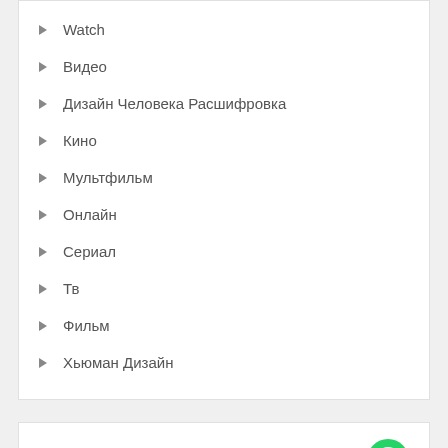Watch
Видео
Дизайн Человека Расшифровка
Кино
Мультфильм
Онлайн
Сериал
Тв
Фильм
Хьюман Дизайн
Meta